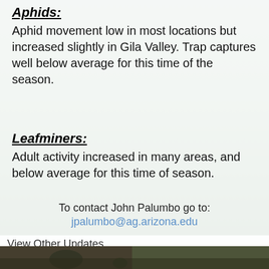Aphids:
Aphid movement low in most locations but increased slightly in Gila Valley. Trap captures well below average for this time of the season.
Leafminers:
Adult activity increased in many areas, and below average for this time of season.
To contact John Palumbo go to:
jpalumbo@ag.arizona.edu
View Other Updates
| 1 | 2 | 3 | 4 | 5 | 6 | 7 | 8 | 9 | 10 | » |
| --- | --- | --- | --- | --- | --- | --- | --- | --- | --- | --- |
Back to Top